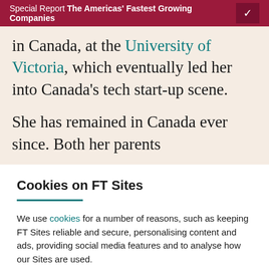Special Report The Americas' Fastest Growing Companies
in Canada, at the University of Victoria, which eventually led her into Canada's tech start-up scene.
She has remained in Canada ever since. Both her parents
Cookies on FT Sites
We use cookies for a number of reasons, such as keeping FT Sites reliable and secure, personalising content and ads, providing social media features and to analyse how our Sites are used.
Manage cookies
Accept & continue